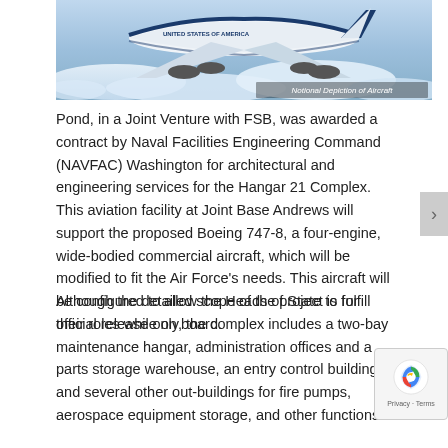[Figure (photo): Aerial photograph of a large blue-and-white aircraft (Boeing 747-style, labeled 'United States of America') flying above clouds. Caption overlay reads 'Notional Depiction of Aircraft'.]
Notional Depiction of Aircraft
Pond, in a Joint Venture with FSB, was awarded a contract by Naval Facilities Engineering Command (NAVFAC) Washington for architectural and engineering services for the Hangar 21 Complex. This aviation facility at Joint Base Andrews will support the proposed Boeing 747-8, a four-engine, wide-bodied commercial aircraft, which will be modified to fit the Air Force's needs. This aircraft will be configured to allow the Heads of State to fulfill their roles while on board.
Although the detailed scope of the project is for official release only, the complex includes a two-bay maintenance hangar, administration offices and a parts storage warehouse, an entry control building, and several other out-buildings for fire pumps, aerospace equipment storage, and other functions.